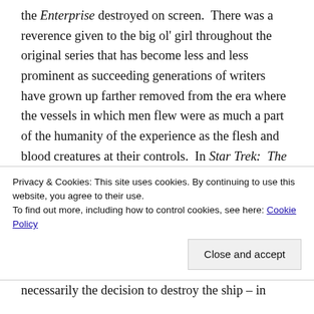the Enterprise destroyed on screen.  There was a reverence given to the big ol' girl throughout the original series that has become less and less prominent as succeeding generations of writers have grown up farther removed from the era where the vessels in which men flew were as much a part of the humanity of the experience as the flesh and blood creatures at their controls.  In Star Trek:  The Motion Picture, the camera caressed the Enterprise as lovingly as it ever has any starlet.  In The Wrath of Khan, the ship protected its crew valiantly under blow after
Privacy & Cookies: This site uses cookies. By continuing to use this website, you agree to their use.
To find out more, including how to control cookies, see here: Cookie Policy
necessarily the decision to destroy the ship – in